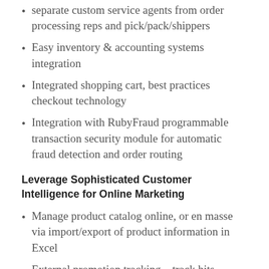separate custom service agents from order processing reps and pick/pack/shippers
Easy inventory & accounting systems integration
Integrated shopping cart, best practices checkout technology
Integration with RubyFraud programmable transaction security module for automatic fraud detection and order routing
Leverage Sophisticated Customer Intelligence for Online Marketing
Manage product catalog online, or en masse via import/export of product information in Excel
External promotion tracking – track hits